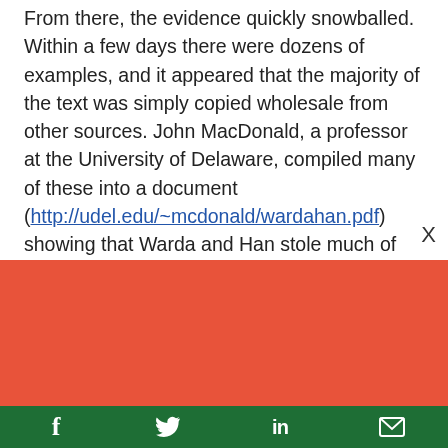From there, the evidence quickly snowballed. Within a few days there were dozens of examples, and it appeared that the majority of the text was simply copied wholesale from other sources. John MacDonald, a professor at the University of Delaware, compiled many of these into a document (http://udel.edu/~mcdonald/wardahan.pdf) showing that Warda and Han stole much of
[Figure (other): Red/orange banner overlay covering lower portion of text content]
Support climate change
Social share bar with Facebook, Twitter, LinkedIn, and email icons